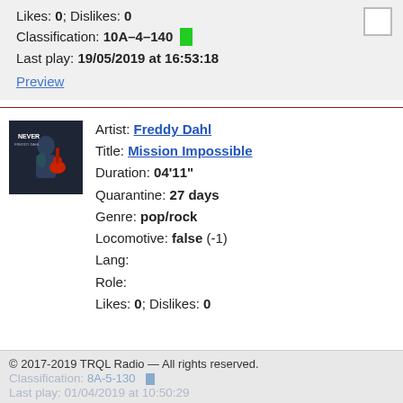Likes: 0; Dislikes: 0
Classification: 10A-4-140
Last play: 19/05/2019 at 16:53:18
Preview
[Figure (photo): Album cover for 'Never' by Freddy Dahl showing guitarist with red guitar on dark background]
Artist: Freddy Dahl
Title: Mission Impossible
Duration: 04'11"
Quarantine: 27 days
Genre: pop/rock
Locomotive: false (-1)
Lang:
Role:
Likes: 0; Dislikes: 0
© 2017-2019 TRQL Radio — All rights reserved.